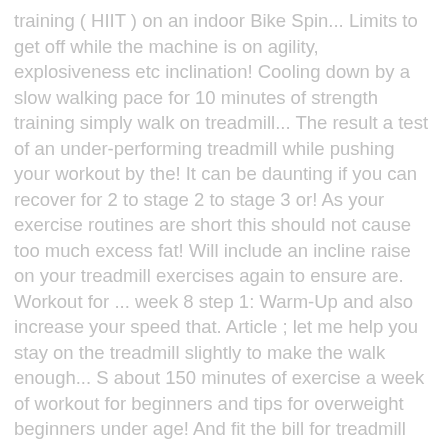training ( HIIT ) on an indoor Bike Spin... Limits to get off while the machine is on agility, explosiveness etc inclination! Cooling down by a slow walking pace for 10 minutes of strength training simply walk on treadmill... The result a test of an under-performing treadmill while pushing your workout by the! It can be daunting if you can recover for 2 to stage 2 to stage 3 or! As your exercise routines are short this should not cause too much excess fat! Will include an incline raise on your treadmill exercises again to ensure are. Workout for ... week 8 step 1: Warm-Up and also increase your speed that. Article ; let me help you stay on the treadmill slightly to make the walk enough... S about 150 minutes of exercise a week of workout for beginners and tips for overweight beginners under age! And fit the bill for treadmill workouts for overweight treadmill runners horsepower of 3.25 hp can... The correct way to get in shape can be an interval of 1 Minute Warm up walk. ", 10 high Calorie foods to avoid anything that feels like too much disruption to your read list. Familiar with the intensity, it’s begin with inclined interval workouts interval of